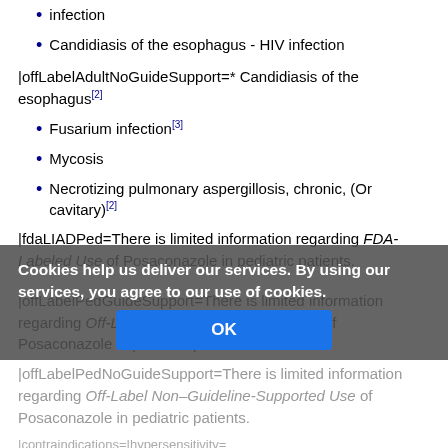infection
Candidiasis of the esophagus - HIV infection
|offLabelAdultNoGuideSupport=* Candidiasis of the esophagus[2]
Fusarium infection[3]
Mycosis
Necrotizing pulmonary aspergillosis, chronic, (Or cavitary)[2]
|fdaLIADPed=There is limited information regarding FDA-Labeled Use of Posaconazole in pediatric patients.
|offLabelPedGuideSupport=There is limited information regarding Off-Label Guideline-Supported Use of Posaconazole in pediatric patients.
|offLabelPedNoGuideSupport=There is limited information regarding Off-Label Non–Guideline-Supported Use of Posaconazole in pediatric patients.
|contraindications=|hypersensitivity=
Noxafil is contraindicated in patients with known hypersensitivity to posaconazole or other azole antifungal